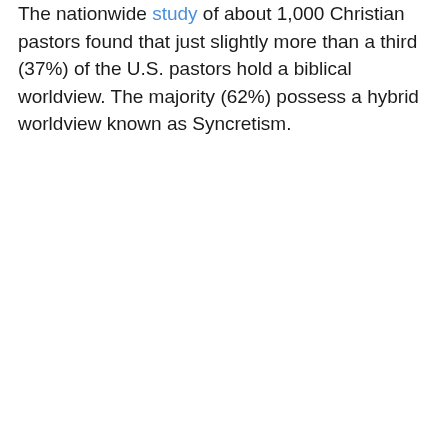The nationwide study of about 1,000 Christian pastors found that just slightly more than a third (37%) of the U.S. pastors hold a biblical worldview. The majority (62%) possess a hybrid worldview known as Syncretism.